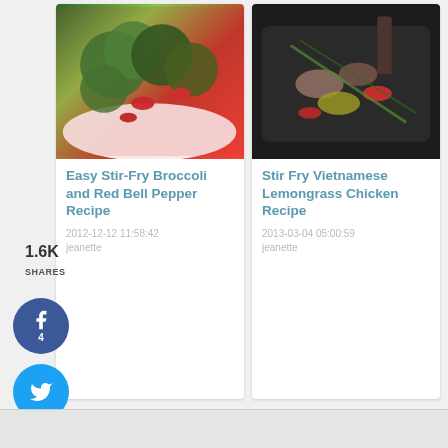[Figure (photo): Recipe card photo: Easy Stir-Fry Broccoli and Red Bell Pepper in a white bowl]
Easy Stir-Fry Broccoli and Red Bell Pepper Recipe
2012-12-12 11:58:42
jeanette
[Figure (photo): Recipe card photo: Stir Fry Vietnamese Lemongrass Chicken in a dark pan]
Stir Fry Vietnamese Lemongrass Chicken Recipe
2013-03-04 05:00:59
jeanette
1.6K
SHARES
[Figure (other): Social share buttons: Facebook (4), Twitter, Pinterest (1.2K), Yum]